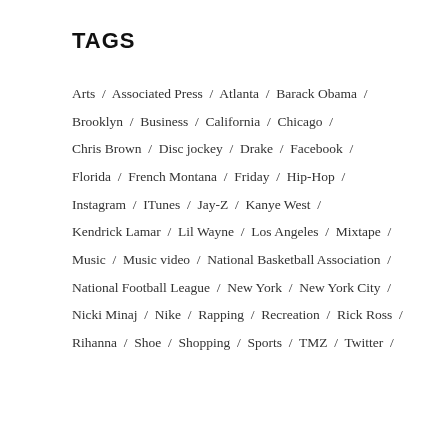TAGS
Arts / Associated Press / Atlanta / Barack Obama / Brooklyn / Business / California / Chicago / Chris Brown / Disc jockey / Drake / Facebook / Florida / French Montana / Friday / Hip-Hop / Instagram / ITunes / Jay-Z / Kanye West / Kendrick Lamar / Lil Wayne / Los Angeles / Mixtape / Music / Music video / National Basketball Association / National Football League / New York / New York City / Nicki Minaj / Nike / Rapping / Recreation / Rick Ross / Rihanna / Shoe / Shopping / Sports / TMZ / Twitter /